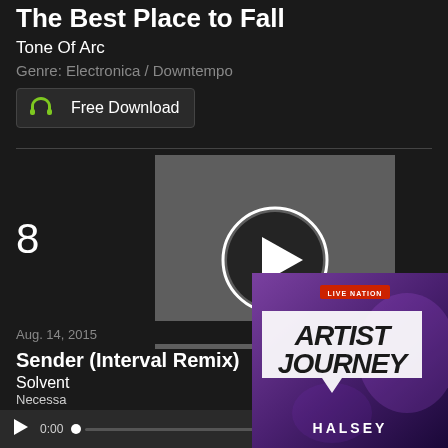The Best Place to Fall
Tone Of Arc
Genre: Electronica / Downtempo
Free Download
[Figure (other): Video player with gray background and circular play button]
8
Aug. 14, 2015
Sender (Interval Remix)
Solvent
Necessa
0:00
[Figure (illustration): Live Nation Artist Journey advertisement featuring Halsey, purple/violet background with flag-shaped logo element]